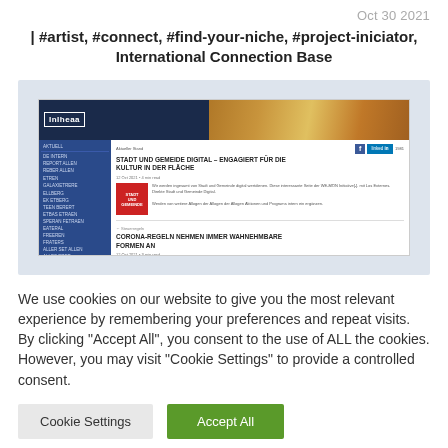Oct 30 2021
| #artist, #connect, #find-your-niche, #project-iniciator, International Connection Base
[Figure (screenshot): Screenshot of a website called 'InIheaa' showing articles including 'STADT UND GEMEIDE DIGITAL – ENGAGIERT FÜR DIE KULTUR IN DER FLÄCHE' and 'CORONA-REGELN NEHMEN IMMER WAHNEHMBARE FORMEN AN' with a blue left sidebar navigation and header image]
We use cookies on our website to give you the most relevant experience by remembering your preferences and repeat visits. By clicking "Accept All", you consent to the use of ALL the cookies. However, you may visit "Cookie Settings" to provide a controlled consent.
Cookie Settings
Accept All